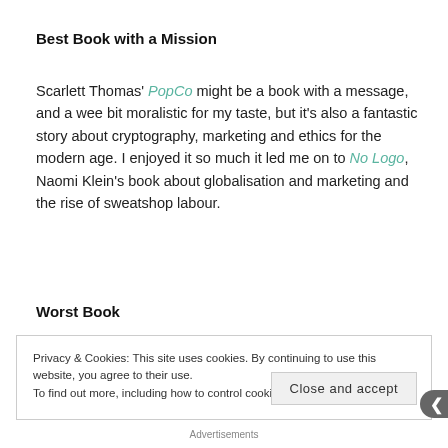Best Book with a Mission
Scarlett Thomas' PopCo might be a book with a message, and a wee bit moralistic for my taste, but it's also a fantastic story about cryptography, marketing and ethics for the modern age. I enjoyed it so much it led me on to No Logo, Naomi Klein's book about globalisation and marketing and the rise of sweatshop labour.
Worst Book
Privacy & Cookies: This site uses cookies. By continuing to use this website, you agree to their use.
To find out more, including how to control cookies, see here: Cookie Policy
Close and accept
Advertisements